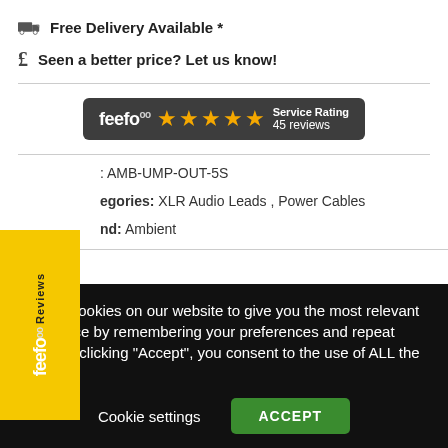Free Delivery Available *
Seen a better price? Let us know!
[Figure (other): Feefo service rating badge showing 5 stars and 45 reviews on a dark grey background]
AMB-UMP-OUT-5S
Categories: XLR Audio Leads, Power Cables
Brand: Ambient
We use cookies on our website to give you the most relevant experience by remembering your preferences and repeat visits. By clicking "Accept", you consent to the use of ALL the cookies.
Cookie settings
ACCEPT